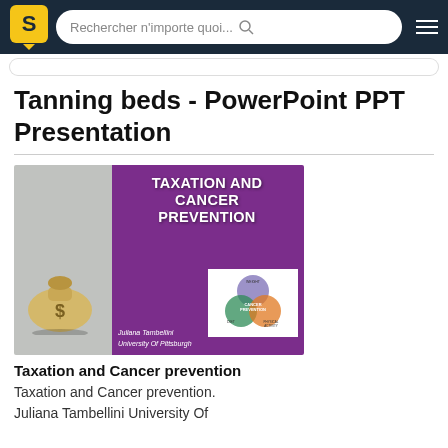Rechercher n'importe quoi...
Tanning beds - PowerPoint PPT Presentation
[Figure (screenshot): Slide thumbnail showing 'TAXATION AND CANCER PREVENTION' presentation by Juliana Tambellini, University Of Pittsburgh, with a money bag image and a Venn diagram on a purple background.]
Taxation and Cancer prevention
Taxation and Cancer prevention. Juliana Tambellini University Of